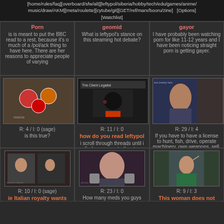[home/rules/faq][overboard/sfw/alt][leftypol/siberia/hobby/tech/edu/games/anime/music/draw/AKM][meta/roulette][cytube/git][GET/ref/marx/booru/zine]   [Options] [Watchlist]
is is meant to put the BBC read to a rest, because it's o much of a /pol/ack thing to have here. There are her reasons to appreciate people of varying
What is leftypol's stance on this steaming hot debate?
I have probably been watching porn for like 11-12 years and I have been noticing straight porn is getting gayer.
[Figure (photo): Cartoon/meme image with country ball characters]
R: 4 / I: 0 (sage)
is this true?
[Figure (photo): Chad vs Virgin style meme image with text 'The Client Legalist']
R: 11 / I: 0
how do you read leftypol
i scroll through threads until i find a comment atleast a couple paragraphs long and read that, then i read the replies to that paragraph. every twitter length post gets
[Figure (photo): Older man sitting in what appears to be a library or office setting, with overlaid text]
R: 29 / I: 4
If you have to have a license to hunt, fish, drive, operate machinery, own weapons, sell, do skilled labor, etc. You should require a license to have children
Seriously. Too many adults having kids and they dump
[Figure (photo): Social media screenshot showing group of people at event]
R: 10 / I: 0 (sage)
ie Italian royalty wants a BLANKER
[Figure (photo): Woman in suggestive pose with medication bottles]
R: 23 / I: 0
How many meds you guys
[Figure (photo): Woman in green top outdoors, waving]
R: 9 / I: 3
This woman does not